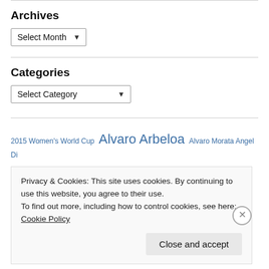Archives
Select Month
Categories
Select Category
2015 Women's World Cup  Alvaro Arbeloa  Alvaro Morata  Angel Di
Privacy & Cookies: This site uses cookies. By continuing to use this website, you agree to their use.
To find out more, including how to control cookies, see here: Cookie Policy
Close and accept